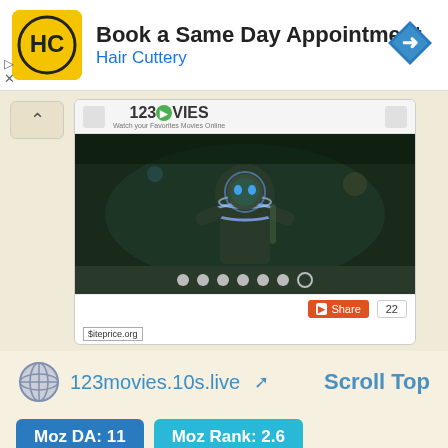[Figure (screenshot): Hair Cuttery advertisement banner with logo, 'Book a Same Day Appointment' text, blue navigation arrow icon, and ad controls]
[Figure (screenshot): Browser screenshot of 123Movies website showing a sci-fi movie still with a person in a spacesuit, carousel dots, share button with count 22, and siteprice.org watermark]
123movies.10s.live
Scroll Top
Moz DA: 11
Moz Rank: 2.6
Semrush Rank: 72,317
Website Worth: $ 500